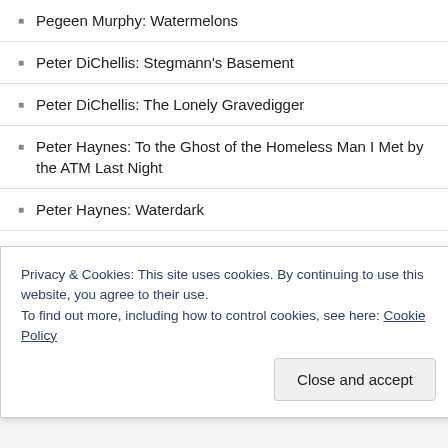Pegeen Murphy: Watermelons
Peter DiChellis: Stegmann's Basement
Peter DiChellis: The Lonely Gravedigger
Peter Haynes: To the Ghost of the Homeless Man I Met by the ATM Last Night
Peter Haynes: Waterdark
Peter Jordan: The Killing Chair
Phebe Jewell: Junk Dumps
Phebe Jewell: Say You Will
Phil Berry: Coppers
Phil Berry: Three-Sided Quadrilateral
Privacy & Cookies: This site uses cookies. By continuing to use this website, you agree to their use. To find out more, including how to control cookies, see here: Cookie Policy
Close and accept